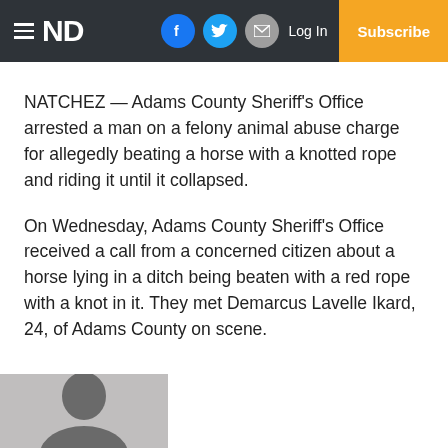ND — Log In — Subscribe
NATCHEZ — Adams County Sheriff's Office arrested a man on a felony animal abuse charge for allegedly beating a horse with a knotted rope and riding it until it collapsed.
On Wednesday, Adams County Sheriff's Office received a call from a concerned citizen about a horse lying in a ditch being beaten with a red rope with a knot in it. They met Demarcus Lavelle Ikard, 24, of Adams County on scene.
[Figure (photo): Mugshot photo of Demarcus Lavelle Ikard, partially visible, bottom of page]